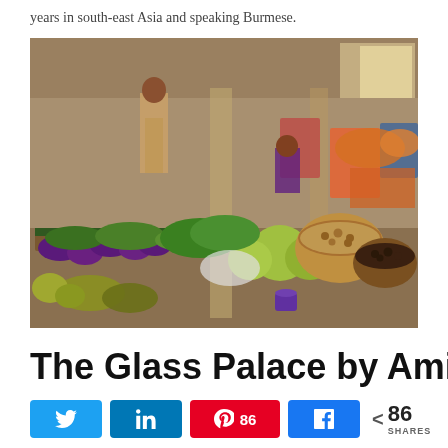years in south-east Asia and speaking Burmese.
[Figure (photo): Indoor market scene with vendors selling fresh vegetables and produce including eggplant, cabbage, greens, and beans in baskets and on wooden tables. A woman stands in the background. The market is in Southeast Asia.]
The Glass Palace by Amitav
[Figure (infographic): Social sharing bar with Twitter, LinkedIn, Pinterest (86), and Facebook buttons, and a total share count of 86 SHARES]